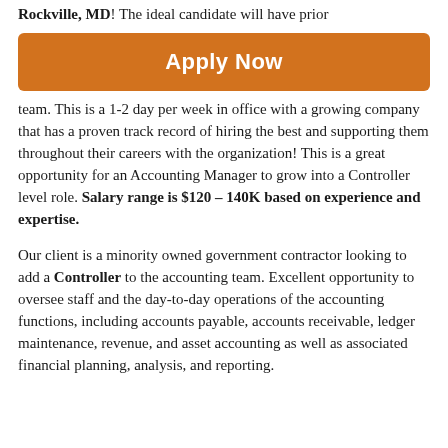Rockville, MD! The ideal candidate will have prior
[Figure (other): Orange 'Apply Now' button]
team. This is a 1-2 day per week in office with a growing company that has a proven track record of hiring the best and supporting them throughout their careers with the organization! This is a great opportunity for an Accounting Manager to grow into a Controller level role. Salary range is $120 – 140K based on experience and expertise.

Our client is a minority owned government contractor looking to add a Controller to the accounting team. Excellent opportunity to oversee staff and the day-to-day operations of the accounting functions, including accounts payable, accounts receivable, ledger maintenance, revenue, and asset accounting as well as associated financial planning, analysis, and reporting.